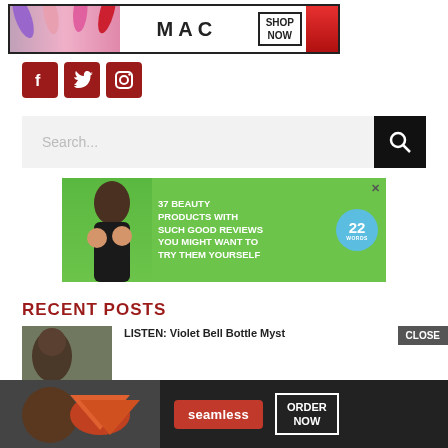[Figure (infographic): MAC cosmetics advertisement banner with lipsticks and SHOP NOW text]
[Figure (infographic): Social media icons for Facebook, Twitter, and Instagram in dark red square buttons]
[Figure (infographic): Search bar with magnifying glass button]
[Figure (infographic): Green advertisement banner: 37 Beauty Products With Such Good Reviews You Might Want To Try Them Yourself, with 22 Words badge]
RECENT POSTS
LISTEN: Violet Bell Bottle Myst
[Figure (infographic): Seamless food delivery advertisement with ORDER NOW button and pizza image]